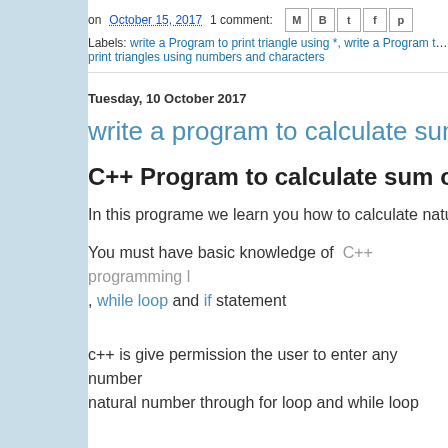on October 15, 2017   1 comment:  [share icons]
Labels: write a Program to print triangle using *, write a Program to print tria..., print triangles using numbers and characters
Tuesday, 10 October 2017
write a program to calculate sum of na...
C++ Program to calculate sum of na...
In this programe we learn you how to calculate natu...
You must have basic knowledge of  C++ programming l..., while loop and if statement
c++ is give permission the user to enter any number... natural number through for loop and while loop